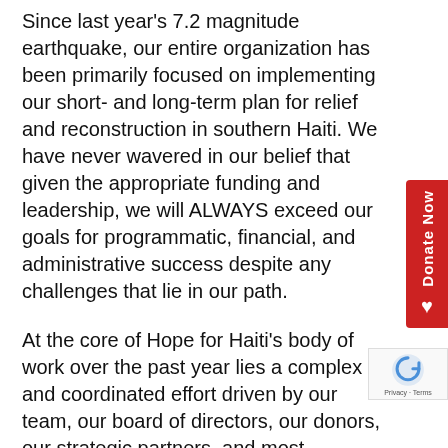Since last year's 7.2 magnitude earthquake, our entire organization has been primarily focused on implementing our short- and long-term plan for relief and reconstruction in southern Haiti. We have never wavered in our belief that given the appropriate funding and leadership, we will ALWAYS exceed our goals for programmatic, financial, and administrative success despite any challenges that lie in our path.
At the core of Hope for Haiti's body of work over the past year lies a complex and coordinated effort driven by our team, our board of directors, our donors, our strategic partners, and most importantly: the people of Haiti.
We chose to release our annual gratitude report on the one-year anniversary of the earthquake as a tribute to those whose lives were impacted by yet another disaster and those who responded in service to help improve the